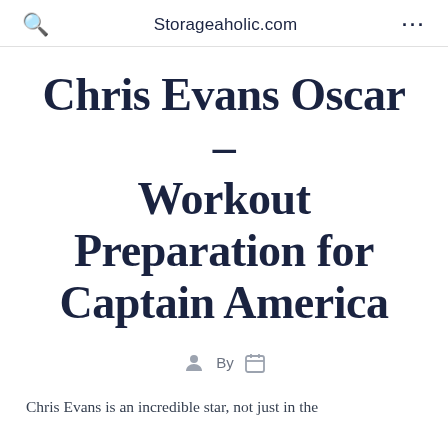Storageaholic.com
Chris Evans Oscar – Workout Preparation for Captain America
By
Chris Evans is an incredible star, not just in the